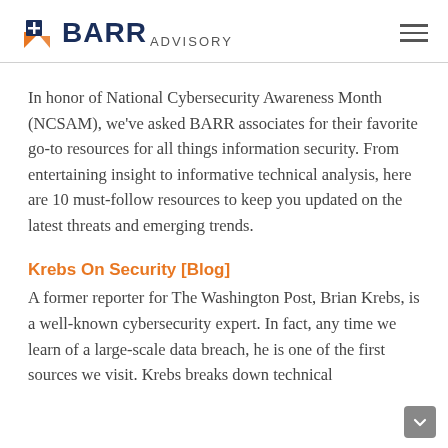BARR ADVISORY
In honor of National Cybersecurity Awareness Month (NCSAM), we've asked BARR associates for their favorite go-to resources for all things information security. From entertaining insight to informative technical analysis, here are 10 must-follow resources to keep you updated on the latest threats and emerging trends.
Krebs On Security [Blog]
A former reporter for The Washington Post, Brian Krebs, is a well-known cybersecurity expert. In fact, any time we learn of a large-scale data breach, he is one of the first sources we visit. Krebs breaks down technical